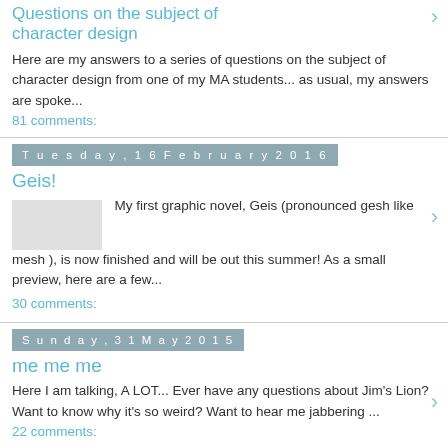Questions on the subject of character design
Here are my answers to a series of questions on the subject of character design from one of my MA students... as usual, my answers are spoke...
81 comments:
Tuesday, 16 February 2016
Geis!
My first graphic novel, Geis (pronounced gesh like mesh ), is now finished and will be out this summer! As a small preview, here are a few...
30 comments:
Sunday, 31 May 2015
me me me
Here I am talking, A LOT... Ever have any questions about Jim's Lion?  Want to know why it's so weird?  Want to hear me jabbering ...
22 comments: